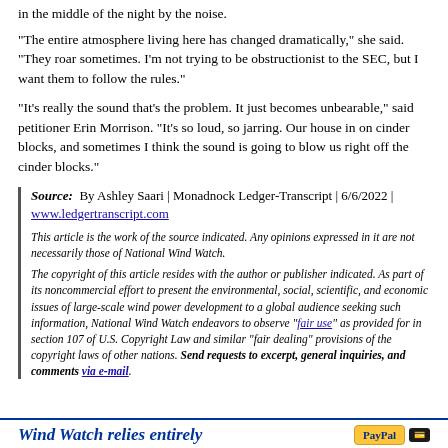in the middle of the night by the noise.
“The entire atmosphere living here has changed dramatically,” she said. “They roar sometimes. I’m not trying to be obstructionist to the SEC, but I want them to follow the rules.”
“It’s really the sound that’s the problem. It just becomes unbearable,” said petitioner Erin Morrison. “It’s so loud, so jarring. Our house in on cinder blocks, and sometimes I think the sound is going to blow us right off the cinder blocks.”
Source: By Ashley Saari | Monadnock Ledger-Transcript | 6/6/2022 | www.ledgertranscript.com
This article is the work of the source indicated. Any opinions expressed in it are not necessarily those of National Wind Watch.
The copyright of this article resides with the author or publisher indicated. As part of its noncommercial effort to present the environmental, social, scientific, and economic issues of large-scale wind power development to a global audience seeking such information, National Wind Watch endeavors to observe “fair use” as provided for in section 107 of U.S. Copyright Law and similar “fair dealing” provisions of the copyright laws of other nations. Send requests to excerpt, general inquiries, and comments via e-mail.
Wind Watch relies entirely